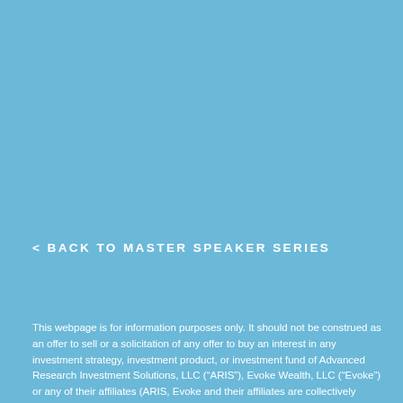< BACK TO MASTER SPEAKER SERIES
This webpage is for information purposes only. It should not be construed as an offer to sell or a solicitation of any offer to buy an interest in any investment strategy, investment product, or investment fund of Advanced Research Investment Solutions, LLC (“ARIS”), Evoke Wealth, LLC (“Evoke”) or any of their affiliates (ARIS, Evoke and their affiliates are collectively referred to hereinafter as